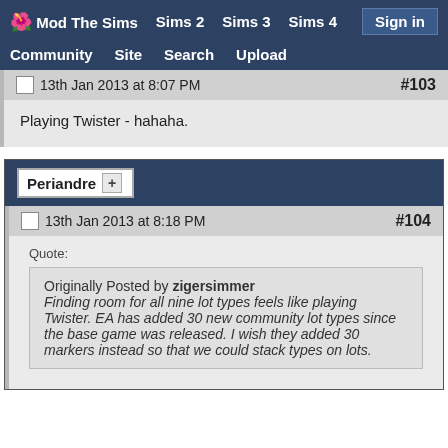Mod The Sims  Sims 2  Sims 3  Sims 4  Sign in  Community  Site  Search  Upload
13th Jan 2013 at 8:07 PM  #103
Playing Twister - hahaha.
Periandre +
13th Jan 2013 at 8:18 PM  #104
Quote:
Originally Posted by zigersimmer
Finding room for all nine lot types feels like playing Twister. EA has added 30 new community lot types since the base game was released. I wish they added 30 markers instead so that we could stack types on lots.